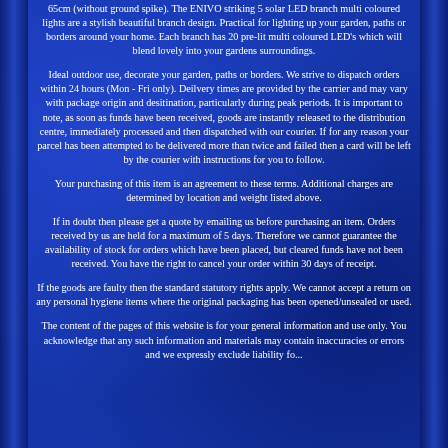65cm (without ground spike). The ENIVO striking 5 solar LED branch multi coloured lights are a stylish beautiful branch design. Practical for lighting up your garden, paths or borders around your home. Each branch has 20 pre-lit multi coloured LED's which will blend lovely into your gardens surroundings.
Ideal outdoor use, decorate your garden, paths or borders. We strive to dispatch orders within 24 hours (Mon - Fri only). Deilvery times are provided by the carrier and may vary with package origin and desitination, particularly during peak periods. It is important to note, as soon as funds have been received, goods are instantly released to the distribution centre, immediately processed and then dispatched with our courier. If for any reason your parcel has been attempted to be delivered more than twice and failed then a card will be left by the courier with instructions for you to follow.
Your purchasing of this item is an agreement to these terms. Additional charges are determined by location and weight listed above.
If in doubt then please get a quote by emailing us before purchasing an item. Orders received by us are held for a maximum of 5 days. Therefore we cannot guarantee the availability of stock for orders which have been placed, but cleared funds have not been received. You have the right to cancel your order within 30 days of receipt.
If the goods are faulty then the standard statutory rights apply. We cannot accept a return on any personal hygiene items where the original packaging has been opened/unsealed or used.
The content of the pages of this website is for your general information and use only. You acknowledge that any such information and materials may contain inaccuracies or errors and we expressly exclude liability fo...